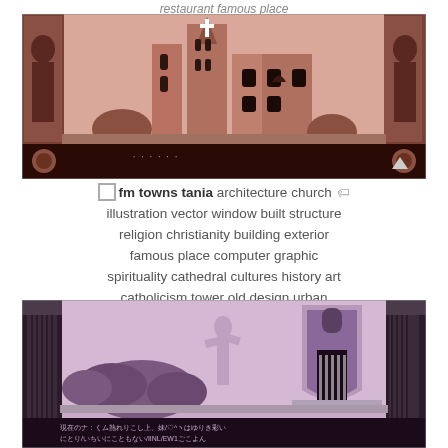restaurant famous place
[Figure (screenshot): Retro pixel art / computer graphic of a church/cathedral exterior with art deco style columns on sides, pink/sepia tones, black bar at bottom with text. FM Towns Tania game screenshot.]
fm towns tania architecture church illustration vector window built structure religion christianity building exterior famous place computer graphic spirituality cathedral cultures history art catholicism tower old design urban scene city facade
[Figure (screenshot): Retro pixel art screenshot of a garden/courtyard scene with a statue, arched entrance, purple/pink tones, Japanese text at bottom. FM Towns Tania game screenshot.]